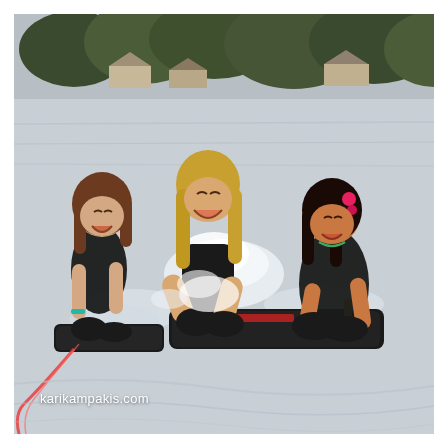[Figure (photo): Three young girls laughing and having fun on a lake, being towed on water boards/tubes behind a boat. They are wearing black sleeveless wetsuits/life vests. The girl on the left sits on a small board holding a red rope, the middle girl kneels/crouches on a large dark board with water splashing around her and her long blonde hair flowing, and the girl on the right with dark hair and pink accessories also crouches on the board holding yellow handles with red grips. Background shows a calm lake with trees and buildings/cabins on the far shore.]
karikampakis.com